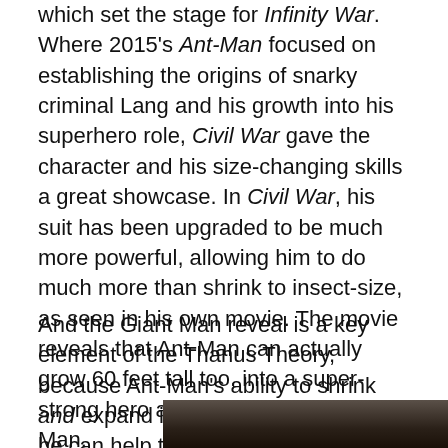which set the stage for Infinity War. Where 2015's Ant-Man focused on establishing the origins of snarky criminal Lang and his growth into his superhero role, Civil War gave the character and his size-changing skills a great showcase. In Civil War, his suit has been upgraded to be much more powerful, allowing him to do much more than shrink to insect-size, as seen in his own movie. The movie reveals that Ant-Man can actually grow 60 feet tall too, into a super-strong hero appropriately called Giant Man.
And the Giant Man reveal is a key element of the Thanus Theory, because Ant-Man's ability to shrink and expand is exactly how fans think he can help the Avengers win the final battle against Thanos.
[Figure (photo): Partial photo visible at bottom of page, appears to be a dark scene, possibly from a movie.]